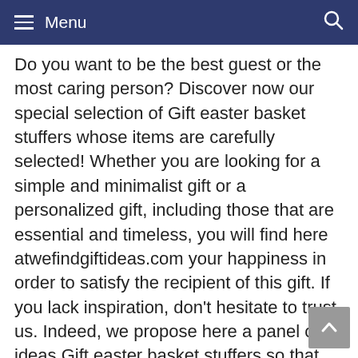Menu
Do you want to be the best guest or the most caring person? Discover now our special selection of Gift easter basket stuffers whose items are carefully selected! Whether you are looking for a simple and minimalist gift or a personalized gift, including those that are essential and timeless, you will find here atwefindgiftideas.com your happiness in order to satisfy the recipient of this gift. If you lack inspiration, don't hesitate to trust us. Indeed, we propose here a panel of ideas Gift easter basket stuffers so that there is something for all tastes, all ages and all affinities. The pleasure of offering is most of the time reflected in your florist or does it seem obsolete to you? You have your opinion, so do we. That is why we are